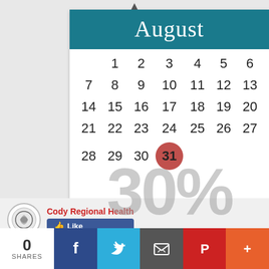[Figure (other): August calendar showing days 1-31, with day 31 highlighted in a red circle, and large '30%' text overlaid in gray on the calendar body. Below the calendar is a Cody Regional Health logo with a Like button, and a social sharing bar at the bottom with 0 shares.]